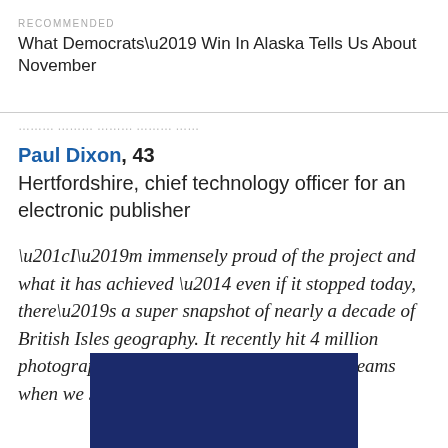RECOMMENDED
What Democrats’ Win In Alaska Tells Us About November
Paul Dixon, 43
Hertfordshire, chief technology officer for an electronic publisher
“I’m immensely proud of the project and what it has achieved — even if it stopped today, there’s a super snapshot of nearly a decade of British Isles geography. It recently hit 4 million photographs, which is beyond our wildest dreams when we started the project!”
[Figure (photo): Dark navy blue rectangular image block, partially visible at bottom of page]